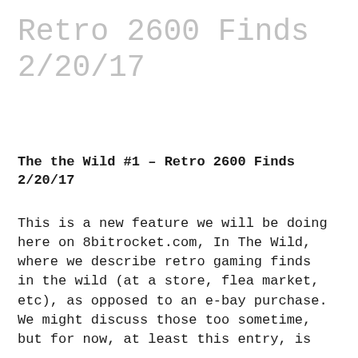Retro 2600 Finds 2/20/17
The the Wild #1 – Retro 2600 Finds 2/20/17
This is a new feature we will be doing here on 8bitrocket.com, In The Wild, where we describe retro gaming finds in the wild (at a store, flea market, etc), as opposed to an e-bay purchase. We might discuss those too sometime, but for now, at least this entry, is